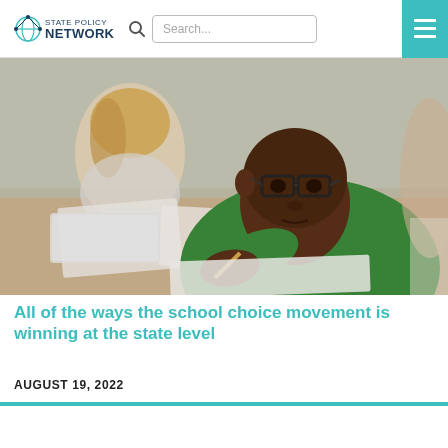STATE POLICY NETWORK
[Figure (photo): Children sitting at a classroom desk working on papers. A young Black boy wearing glasses and a green t-shirt is in the foreground, focused on writing. A blonde girl is in the background also working.]
All of the ways the school choice movement is winning at the state level
AUGUST 19, 2022